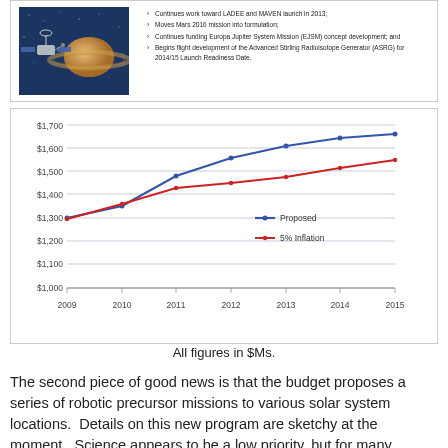[Figure (illustration): Artist rendering of a spacecraft near Saturn/planet with rings, dark blue space background]
Continues work toward LADEE and MAVEN launch in 2013;
Moves Mars 2016 mission into formulation;
Continues funding Europa Jupiter System Mission (EJSM) concept development; and
Begins flight development of the Advanced Stirling Radioisotope Generator (ASRG) for 2014/15 Launch Readiness Date.
[Figure (line-chart): ]
All figures in $Ms.
The second piece of good news is that the budget proposes a series of robotic precursor missions to various solar system locations.  Details on this new program are sketchy at the moment.  Science appears to be a low priority, but for many locations, even a simple camera can lead to new